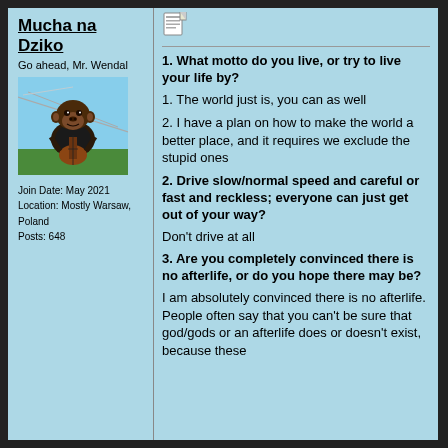Mucha na Dziko
Go ahead, Mr. Wendal
[Figure (photo): Avatar image of a chimpanzee wearing a jacket and playing a guitar outdoors]
Join Date: May 2021
Location: Mostly Warsaw, Poland
Posts: 648
[Figure (illustration): Small document/notepad icon]
1. What motto do you live, or try to live your life by?
1. The world just is, you can as well
2. I have a plan on how to make the world a better place, and it requires we exclude the stupid ones
2. Drive slow/normal speed and careful or fast and reckless; everyone can just get out of your way?
Don't drive at all
3. Are you completely convinced there is no afterlife, or do you hope there may be?
I am absolutely convinced there is no afterlife. People often say that you can't be sure that god/gods or an afterlife does or doesn't exist, because these